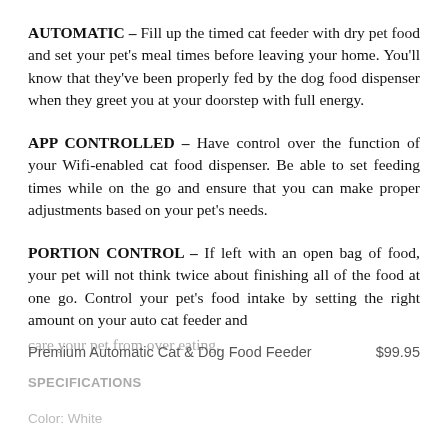AUTOMATIC – Fill up the timed cat feeder with dry pet food and set your pet's meal times before leaving your home. You'll know that they've been properly fed by the dog food dispenser when they greet you at your doorstep with full energy.
APP CONTROLLED – Have control over the function of your Wifi-enabled cat food dispenser. Be able to set feeding times while on the go and ensure that you can make proper adjustments based on your pet's needs.
PORTION CONTROL – If left with an open bag of food, your pet will not think twice about finishing all of the food at one go. Control your pet's food intake by setting the right amount on your auto cat feeder and
care your pet from over eating.
Premium Automatic Cat & Dog Food Feeder    $99.95
SPECIFICATIONS
Color: White